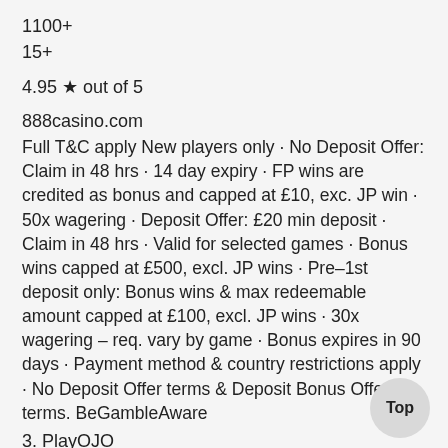1100+
15+
4.95 ★ out of 5
888casino.com
Full T&C apply New players only · No Deposit Offer: Claim in 48 hrs · 14 day expiry · FP wins are credited as bonus and capped at £10, exc. JP win · 50x wagering · Deposit Offer: £20 min deposit · Claim in 48 hrs · Valid for selected games · Bonus wins capped at £500, excl. JP wins · Pre–1st deposit only: Bonus wins & max redeemable amount capped at £100, excl. JP wins · 30x wagering – req. vary by game · Bonus expires in 90 days · Payment method & country restrictions apply · No Deposit Offer terms & Deposit Bonus Offer terms. BeGambleAware
3. PlayOJO
50 Free Spins Welcome Bonus
3100+
2700+